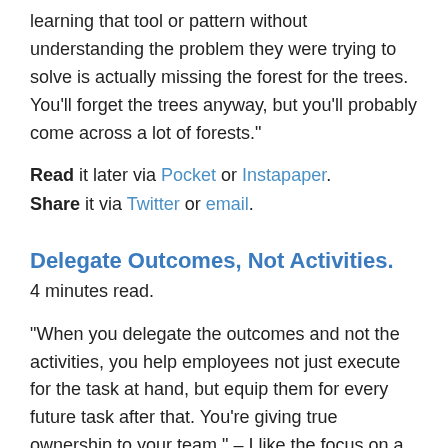learning that tool or pattern without understanding the problem they were trying to solve is actually missing the forest for the trees. You'll forget the trees anyway, but you'll probably come across a lot of forests."
Read it later via Pocket or Instapaper.
Share it via Twitter or email.
Delegate Outcomes, Not Activities.
4 minutes read.
"When you delegate the outcomes and not the activities, you help employees not just execute for the task at hand, but equip them for every future task after that. You're giving true ownership to your team." – I like the focus on a clear and explicit outcome, rather than focusing on the tactics. Claire Lew with a short and powerful tip when delegating responsibility to someone else on your team.